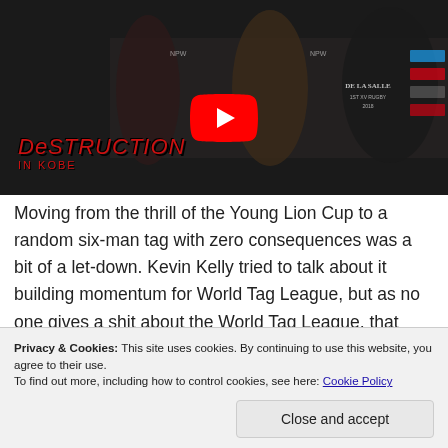[Figure (screenshot): YouTube video thumbnail showing a post-match interview at NJPW Destruction in Kobe event. Three people visible: a woman in a bunny mask costume on the left, a shirtless Japanese wrestler in the center, and a large man in a black 'De La Salle' rugby shirt on the right. YouTube play button overlaid in center. Title bar reads 'Is Yujiro jealous of Fale and...'. Destruction in Kobe logo visible in lower left of video.]
Moving from the thrill of the Young Lion Cup to a random six-man tag with zero consequences was a bit of a let-down. Kevin Kelly tried to talk about it building momentum for World Tag League, but as no one gives a shit about the World Tag League, that was hard to get enthusiastic about.
Privacy & Cookies: This site uses cookies. By continuing to use this website, you agree to their use.
To find out more, including how to control cookies, see here: Cookie Policy
Close and accept